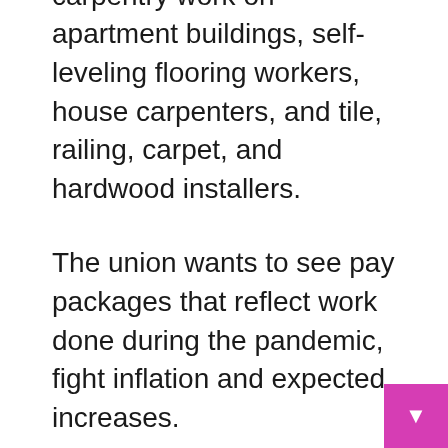include people who do carpentry work on apartment buildings, self-leveling flooring workers, house carpenters, and tile, railing, carpet, and hardwood installers.
The union wants to see pay packages that reflect work done during the pandemic, fight inflation and expected increases.
“Fundamentally, it’s all about the money,” Jason Ottey, director of government relations and communications for LiUNA Local 183, told CBC News on Monday.
He confirmed that the strike affects high-rise construction workers in Waterloo, Cambridge and Guelph.